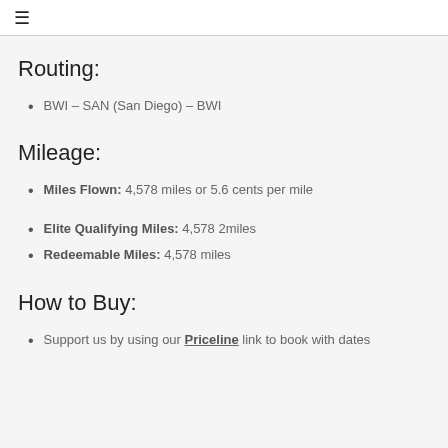☰
Routing:
BWI – SAN (San Diego) – BWI
Mileage:
Miles Flown: 4,578 miles or 5.6 cents per mile
Elite Qualifying Miles: 4,578 2miles
Redeemable Miles: 4,578 miles
How to Buy:
Support us by using our Priceline link to book with dates